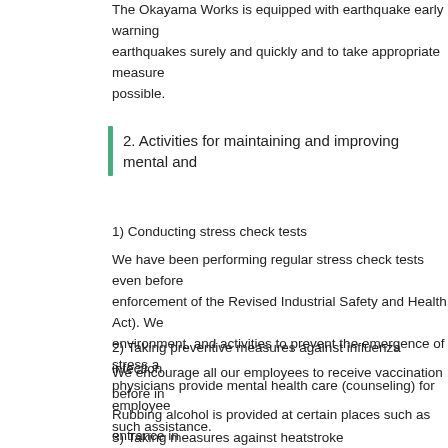The Okayama Works is equipped with earthquake early warning earthquakes surely and quickly and to take appropriate measures possible.
2. Activities for maintaining and improving mental and
1) Conducting stress check tests
We have been performing regular stress check tests even before enforcement of the Revised Industrial Safety and Health Act). We environment, and activities to prevent the emergence of stress a physicians provide mental health care (counseling) for employees such assistance.
2) Taking preventive measures against influenza infection
We encourage all our employees to receive vaccination before in Rubbing alcohol is provided at certain places such as entrance in Works to prevent influenza infection.
3) Taking measures against heatstroke